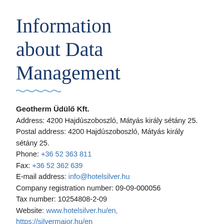Information about Data Management
Geotherm Üdülő Kft.
Address: 4200 Hajdúszoboszló, Mátyás király sétány 25.
Postal address: 4200 Hajdúszoboszló, Mátyás király sétány 25.
Phone: +36 52 363 811
Fax: +36 52 362 639
E-mail address: info@hotelsilver.hu
Company registration number: 09-09-000056
Tax number: 10254808-2-09
Website: www.hotelsilver.hu/en, https://silvermajor.hu/en
Data Controller (hereinafter referred to as: Company